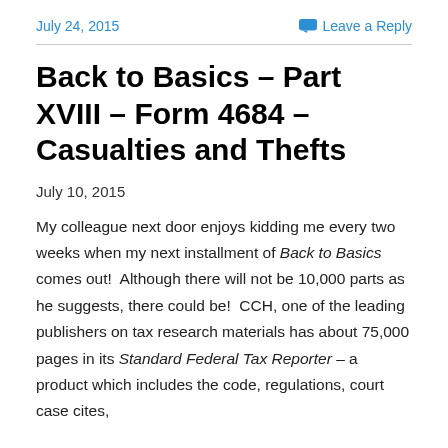July 24, 2015   Leave a Reply
Back to Basics – Part XVIII – Form 4684 – Casualties and Thefts
July 10, 2015
My colleague next door enjoys kidding me every two weeks when my next installment of Back to Basics comes out!  Although there will not be 10,000 parts as he suggests, there could be!  CCH, one of the leading publishers on tax research materials has about 75,000 pages in its Standard Federal Tax Reporter – a product which includes the code, regulations, court case cites,